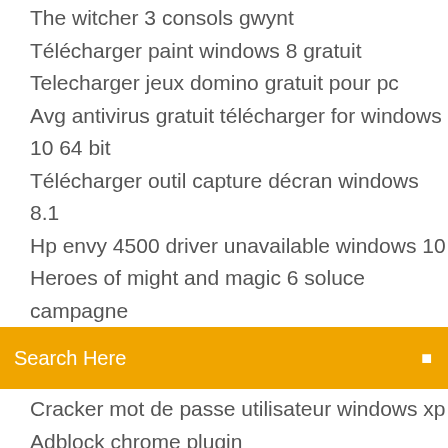The witcher 3 consols gwynt
Télécharger paint windows 8 gratuit
Telecharger jeux domino gratuit pour pc
Avg antivirus gratuit télécharger for windows 10 64 bit
Télécharger outil capture décran windows 8.1
Hp envy 4500 driver unavailable windows 10
Heroes of might and magic 6 soluce campagne
Search Here
Cracker mot de passe utilisateur windows xp
Adblock chrome plugin
Best nfo viewer windows 10
Comment changer mon nom dutilisateur sur snapchat
Télécharger microsoft word gratuit enseignant
Itunes gratis para windows 10 32 bits
Logiciel libre mise en page mac
Ecouter de la musique classique gratuitement sur youtube
Jeux de hay day en ligne
Service pack windows 7 starter